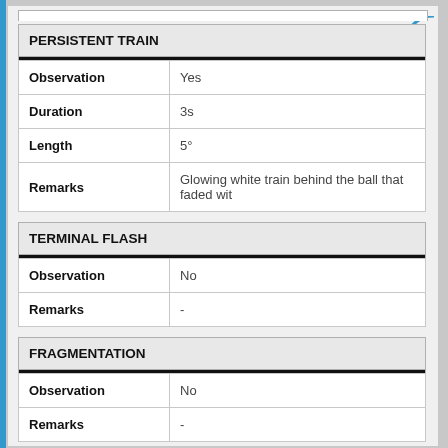| PERSISTENT TRAIN |  |
| --- | --- |
| Observation | Yes |
| Duration | 3s |
| Length | 5° |
| Remarks | Glowing white train behind the ball that faded wit |
| TERMINAL FLASH |  |
| --- | --- |
| Observation | No |
| Remarks | - |
| FRAGMENTATION |  |
| --- | --- |
| Observation | No |
| Remarks | - |